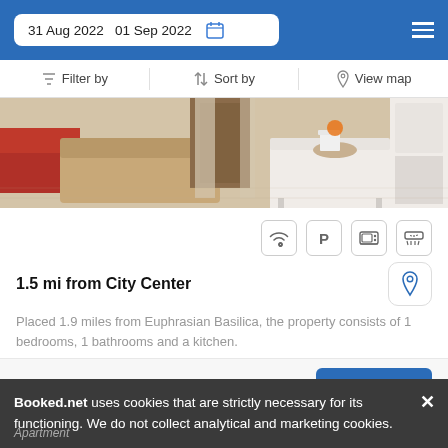31 Aug 2022  01 Sep 2022
Filter by  |  Sort by  |  View map
[Figure (photo): Interior photo of an apartment living room with a red cushion, beige sofa, white table, and kitchen area visible]
1.5 mi from City Center
Placed 1.9 miles from Euphrasian Basilica, the property consists of 1 bedrooms, 1 bathrooms and a kitchen.
from  us$ 51/night
SELECT
Booked.net uses cookies that are strictly necessary for its functioning. We do not collect analytical and marketing cookies.
Apartment